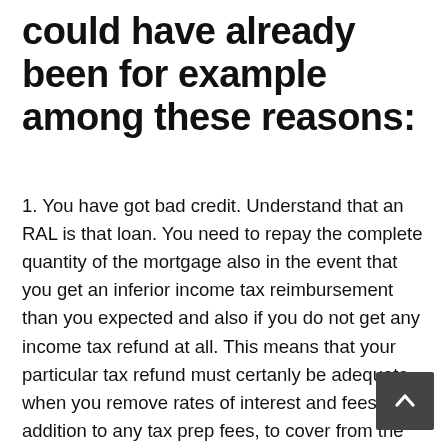could have already been for example among these reasons:
1. You have got bad credit. Understand that an RAL is that loan. You need to repay the complete quantity of the mortgage also in the event that you get an inferior income tax reimbursement than you expected and also if you do not get any income tax refund at all. This means that your particular tax refund must certanly be adequate when you remove rates of interest and fees, in addition to any tax prep fees, to cover from the loan. All sorts of things could reduce steadily the amount you truly get, including income tax legislation modifications and offsets ( more about those who work in an instant). The IRS no more supplies a «debt indicator» which suggests the lending company in advance